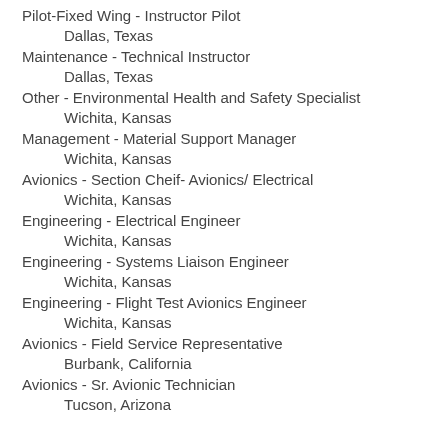Pilot-Fixed Wing - Instructor Pilot
    Dallas, Texas
Maintenance - Technical Instructor
    Dallas, Texas
Other - Environmental Health and Safety Specialist
    Wichita, Kansas
Management - Material Support Manager
    Wichita, Kansas
Avionics - Section Cheif- Avionics/ Electrical
    Wichita, Kansas
Engineering - Electrical Engineer
    Wichita, Kansas
Engineering - Systems Liaison Engineer
    Wichita, Kansas
Engineering - Flight Test Avionics Engineer
    Wichita, Kansas
Avionics - Field Service Representative
    Burbank, California
Avionics - Sr. Avionic Technician
    Tucson, Arizona